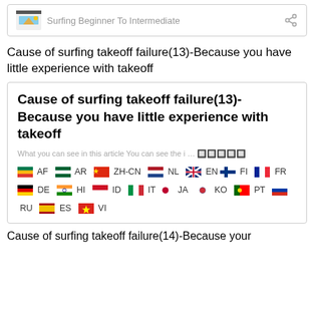[Figure (screenshot): A card widget showing 'Surfing Beginner To Intermediate' with a thumbnail icon and a share icon.]
Cause of surfing takeoff failure(13)-Because you have little experience with takeoff
[Figure (screenshot): A search result card showing the article title in bold, a subtitle 'What you can see in this article You can see the i ...', and language flag links including AF, AR, ZH-CN, NL, EN, FI, FR, DE, HI, ID, IT, JA, KO, PT, RU, ES, VI.]
Cause of surfing takeoff failure(14)-Because your